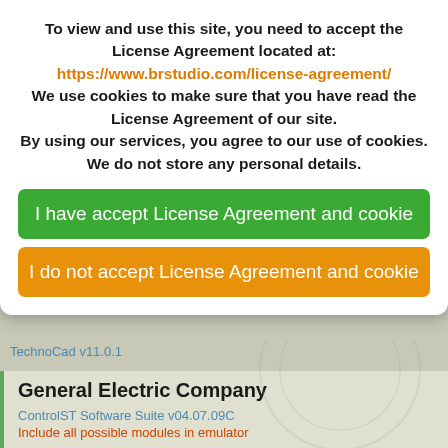To view and use this site, you need to accept the License Agreement located at:
https://www.brstudio.com/license-agreement/
We use cookies to make sure that you have read the License Agreement of our site. By using our services, you agree to our use of cookies. We do not store any personal details.
I have accept License Agreement and cookie
I do not accept License Agreement and cookie
TechnoCad v11.0.1
General Electric Company
ControlST Software Suite v04.07.09C
Include all possible modules in emulator
Stork Prints Austria